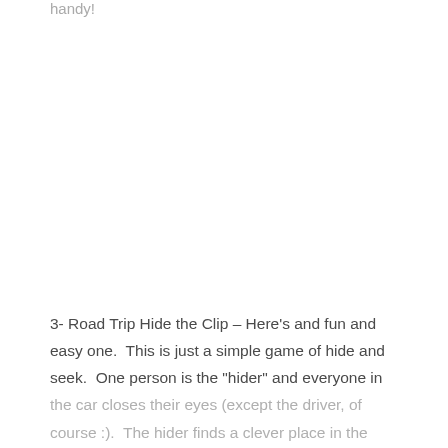handy!
3- Road Trip Hide the Clip – Here's and fun and easy one.  This is just a simple game of hide and seek.  One person is the "hider" and everyone in the car closes their eyes (except the driver, of course :).  The hider finds a clever place in the